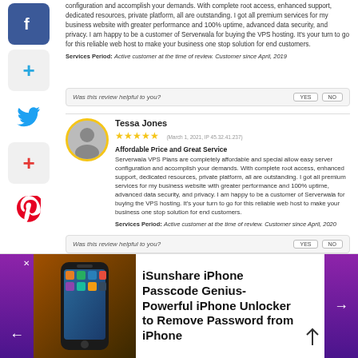configuration and accomplish your demands. With complete root access, enhanced support, dedicated resources, private platform, all are outstanding. I got all premium services for my business website with greater performance and 100% uptime, advanced data security, and privacy. I am happy to be a customer of Serverwala for buying the VPS hosting. It's your turn to go for this reliable web host to make your business one stop solution for end customers.
Services Period: Active customer at the time of review. Customer since April, 2019
Was this review helpful to you?
Tessa Jones
March 1, 2021, IP 45.32.41.237
Affordable Price and Great Service
Serverwala VPS Plans are completely affordable and special allow easy server configuration and accomplish your demands. With complete root access, enhanced support, dedicated resources, private platform, all are outstanding. I got all premium services for my business website with greater performance and 100% uptime, advanced data security, and privacy. I am happy to be a customer of Serverwala for buying the VPS hosting. It's your turn to go for this reliable web host to make your business one stop solution for end customers.
Services Period: Active customer at the time of review. Customer since April, 2020
Was this review helpful to you?
iSunshare iPhone Passcode Genius- Powerful iPhone Unlocker to Remove Password from iPhone